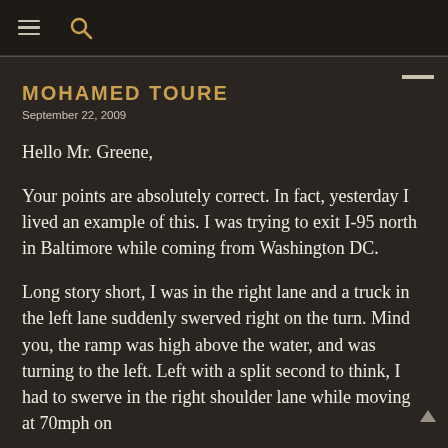≡  🔍
MOHAMED TOURE
September 22, 2009
Hello Mr. Greene,
Your points are absolutely correct. In fact, yesterday I lived an example of this. I was trying to exit I-95 north in Baltimore while coming from Washington DC.
Long story short, I was in the right lane and a truck in the left lane suddenly swerved right on the turn. Mind you, the ramp was high above the water, and was turning to the left. Left with a split second to think, I had to swerve in the right shoulder lane while moving at 70mph on